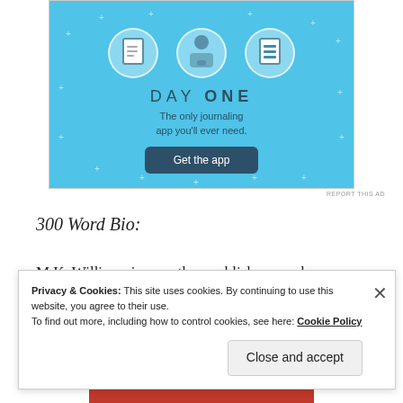[Figure (illustration): DAY ONE journaling app advertisement on light blue background with icons of a notebook, person, and list, and a 'Get the app' button]
REPORT THIS AD
300 Word Bio:
M.K. Williams is an author, publisher, speaker
Privacy & Cookies: This site uses cookies. By continuing to use this website, you agree to their use.
To find out more, including how to control cookies, see here: Cookie Policy
Close and accept